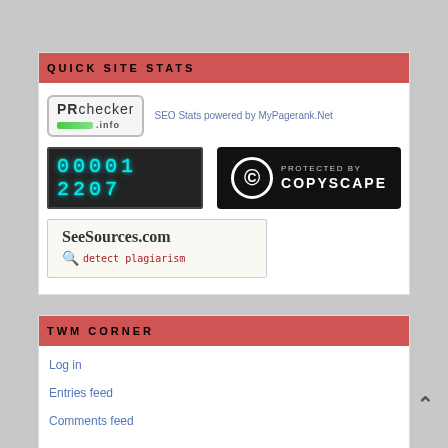QUICK SITE STATS
[Figure (logo): PRChecker.info badge with green progress bar]
[Figure (logo): SEO Stats powered by MyPagerank.Net text link]
[Figure (other): Digital counter showing 00001 2207]
[Figure (logo): Protected by Copyscape badge - black with copyright circle symbol]
[Figure (logo): SeeSources.com detect plagiarism badge]
TWM CORNER
Log in
Entries feed
Comments feed